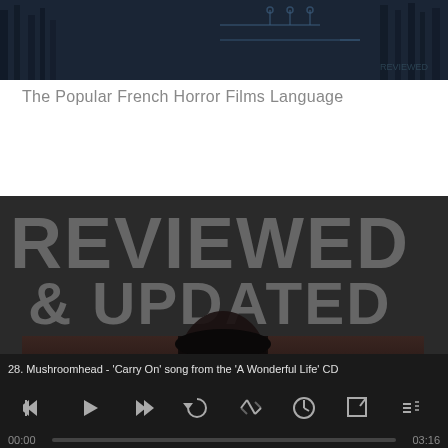[Figure (photo): Dark blue-toned horror film still showing trees and circuit-like overlays]
The Popular French Horror Films Language
[Figure (photo): Dark background with large grey text 'REVIEWED & UPDATED' overlaid on dark image of a woman with markings on her face]
28. Mushroomhead - 'Carry On' song from the 'A Wonderful Life' CD
00:00
03:16